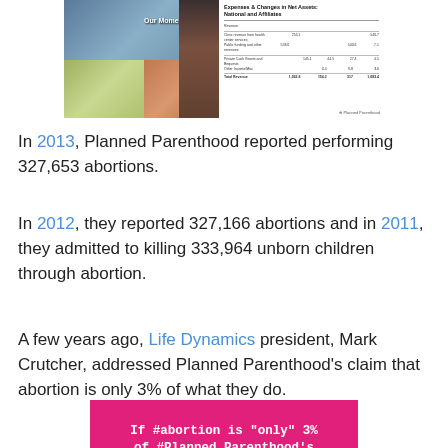[Figure (photo): Planned Parenthood annual report cover with photos of women on left and financial statement table on right]
In 2013, Planned Parenthood reported performing 327,653 abortions.
In 2012, they reported 327,166 abortions and in 2011, they admitted to killing 333,964 unborn children through abortion.
A few years ago, Life Dynamics president, Mark Crutcher, addressed Planned Parenthood's claim that abortion is only 3% of what they do.
[Figure (photo): Pink/magenta graphic with white text reading: If #abortion is "only" 3% of #Planned Parenthood's]